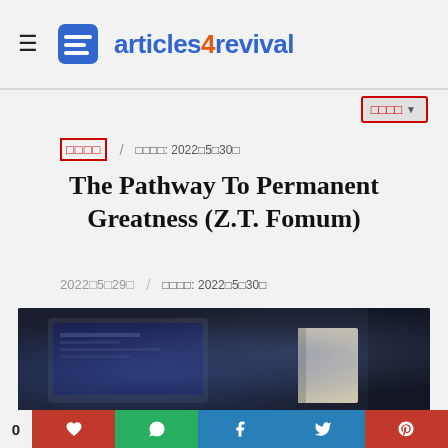articles4revival
□□□□ / □□□□: 2022□5□30□
The Pathway To Permanent Greatness (Z.T. Fomum)
2022□5□29□ / □□□□: 2022□5□30□
[Figure (photo): Dark background photo of a laptop/device on a desk, partially visible]
0